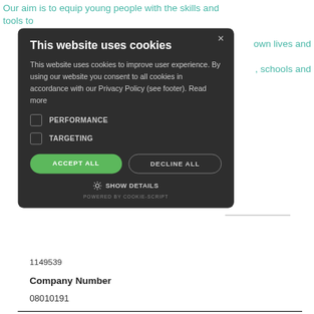Our aim is to equip young people with the skills and tools to
own lives and
, schools and
[Figure (screenshot): Cookie consent modal dialog with dark background showing 'This website uses cookies' title, cookie policy text, PERFORMANCE and TARGETING checkboxes, ACCEPT ALL (green) and DECLINE ALL buttons, SHOW DETAILS link, and POWERED BY COOKIE-SCRIPT footer.]
1149539
Company Number
08010191